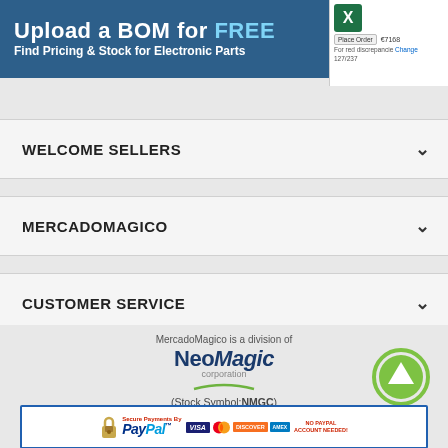[Figure (screenshot): Blue banner advertisement: 'Upload a BOM for FREE - Find Pricing & Stock for Electronic Parts' with Excel icon and Place Order UI on the right]
[Figure (screenshot): Up-arrow navigation button (chevron up) in white rounded box]
WELCOME SELLERS
MERCADOMAGICO
CUSTOMER SERVICE
CONTACT US
MercadoMagico is a division of NeoMagic corporation
(Stock Symbol:NMGC)
© 2012-2022 MercadoMagico.
[Figure (logo): PayPal Secure Payments banner with lock icon, PayPal logo, Visa, MasterCard, Discover, AmEx logos and 'NO PAYPAL ACCOUNT NEEDED!']